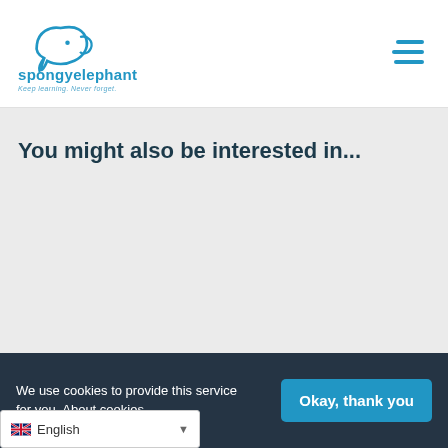spongyel ephant – Keep learning. Never forget.
You might also be interested in...
We use cookies to provide this service for you. About cookies.
Okay, thank you
English